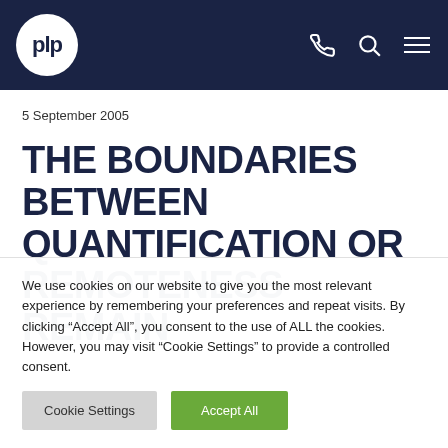plp
5 September 2005
THE BOUNDARIES BETWEEN QUANTIFICATION OR REMOTENESS REMAIN
We use cookies on our website to give you the most relevant experience by remembering your preferences and repeat visits. By clicking “Accept All”, you consent to the use of ALL the cookies. However, you may visit “Cookie Settings” to provide a controlled consent.